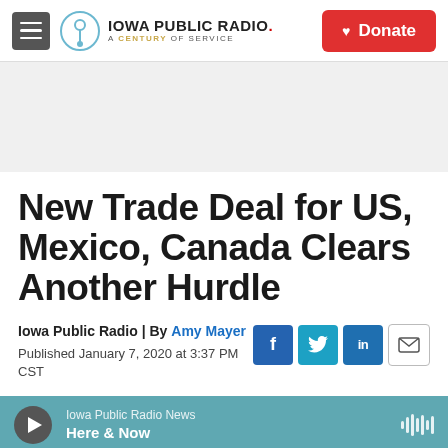Iowa Public Radio. A Century of Service | Donate
New Trade Deal for US, Mexico, Canada Clears Another Hurdle
Iowa Public Radio | By Amy Mayer
Published January 7, 2020 at 3:37 PM CST
Iowa Public Radio News — Here & Now